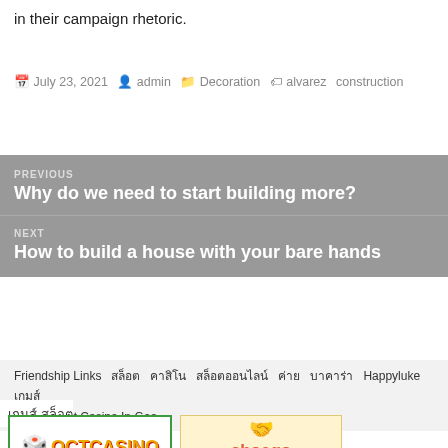in their campaign rhetoric.
📅 July 23, 2021  👤 admin  📁 Decoration  🏷 alvarez construction
PREVIOUS
Why do we need to start building more?
NEXT
How to build a house with your bare hands
Friendship Links  สล็อต  คาสิโน  สล็อตออนไลน์  ค่าย   บาคาร่า  Happyluke  เกมส์สล็อต  Best Casino In Goa
เกมส์ สล็อต
[Figure (logo): OCTCASINO logo with red dice]
[Figure (logo): choego casino.com logo]